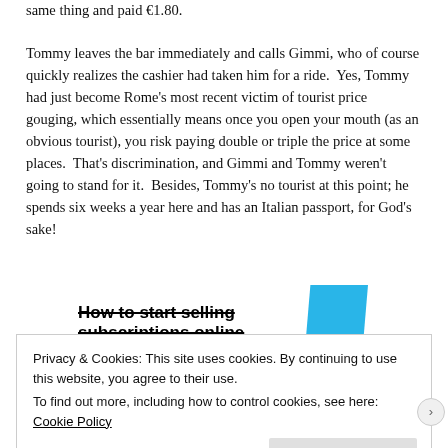same thing and paid €1.80.
Tommy leaves the bar immediately and calls Gimmi, who of course quickly realizes the cashier had taken him for a ride.  Yes, Tommy had just become Rome's most recent victim of tourist price gouging, which essentially means once you open your mouth (as an obvious tourist), you risk paying double or triple the price at some places.  That's discrimination, and Gimmi and Tommy weren't going to stand for it.  Besides, Tommy's no tourist at this point; he spends six weeks a year here and has an Italian passport, for God's sake!
[Figure (infographic): Advertisement banner with bold text 'How to start selling subscriptions online' with a blue parallelogram shape to the right]
Privacy & Cookies: This site uses cookies. By continuing to use this website, you agree to their use.
To find out more, including how to control cookies, see here: Cookie Policy
Close and accept